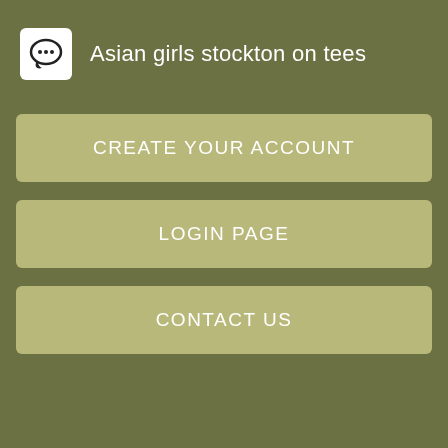Asian girls stockton on tees
CREATE YOUR ACCOUNT
LOGIN PAGE
CONTACT US
Any moth and daughter teams out there. Well there you go ;b. Remember to have fun and be adventurous.
01. Sexy woman wants sex kingsport:
02. 6249
03. Channelview texas girls naked
04. There is probably nothing better than hooking up with a hot local girl or meeting up for a one night stand while your travelling or while the wife is away nobody is judging